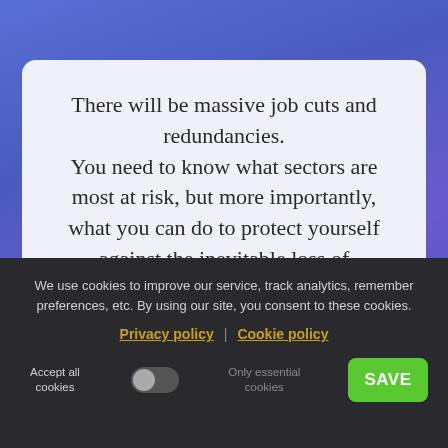There will be massive job cuts and redundancies. You need to know what sectors are most at risk, but more importantly, what you can do to protect yourself against the inevitable loss of employment for many people.
Download Your Free Special Report!
We use cookies to improve our service, track analytics, remember preferences, etc. By using our site, you consent to these cookies.
Privacy policy | Cookie policy
Accept all cookies   Only essential cookies   SAVE